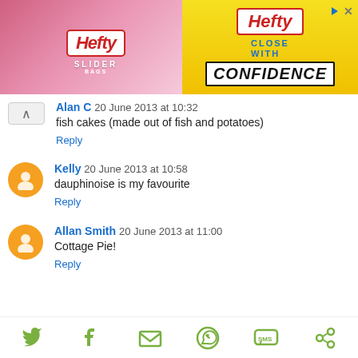[Figure (other): Hefty Slider Bags advertisement banner - pink/yellow background with Hefty logo and 'CLOSE WITH CONFIDENCE' text]
Alan C 20 June 2013 at 10:32
fish cakes (made out of fish and potatoes)
Reply
Kelly 20 June 2013 at 10:58
dauphinoise is my favourite
Reply
Allan Smith 20 June 2013 at 11:00
Cottage Pie!
Reply
[Figure (other): Social share bar with icons: Twitter, Facebook, Email/Envelope, WhatsApp, SMS, and another share icon - all in green color]